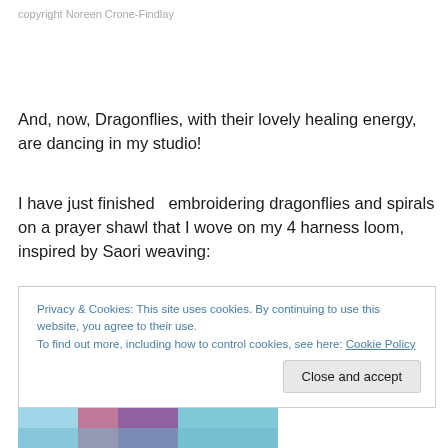copyright Noreen Crone-Findlay
And, now, Dragonflies, with their lovely healing energy, are dancing in my studio!
I have just finished  embroidering dragonflies and spirals on a prayer shawl that I wove on my 4 harness loom, inspired by Saori weaving:
Privacy & Cookies: This site uses cookies. By continuing to use this website, you agree to their use.
To find out more, including how to control cookies, see here: Cookie Policy
[Figure (photo): Bottom portion of a colorful prayer shawl with blues and purples, partially visible at the bottom of the page]